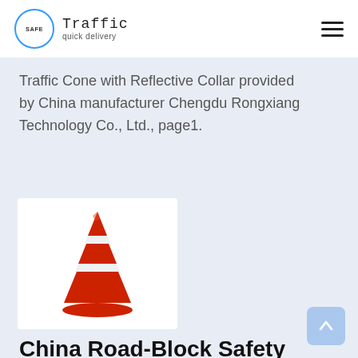Traffic quick delivery
Traffic Cone with Reflective Collar provided by China manufacturer Chengdu Rongxiang Technology Co., Ltd., page1.
[Figure (photo): A red traffic cone with white reflective collar bands, photographed on white background.]
China Road-Block Safety Tall Red Reflective Traffi...